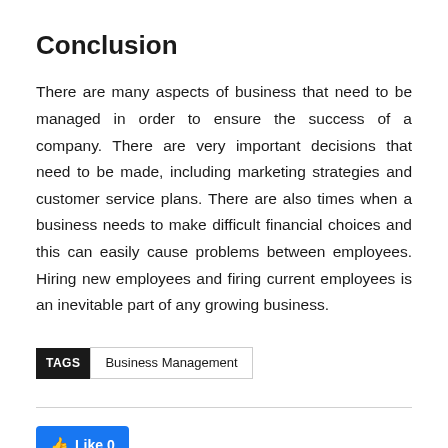Conclusion
There are many aspects of business that need to be managed in order to ensure the success of a company. There are very important decisions that need to be made, including marketing strategies and customer service plans. There are also times when a business needs to make difficult financial choices and this can easily cause problems between employees. Hiring new employees and firing current employees is an inevitable part of any growing business.
TAGS  Business Management
Like 0